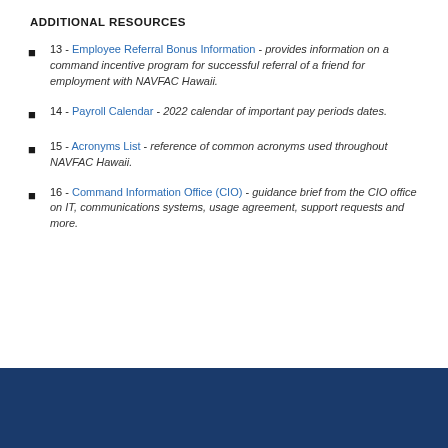ADDITIONAL RESOURCES
13 - Employee Referral Bonus Information - provides information on a command incentive program for successful referral of a friend for employment with NAVFAC Hawaii.
14 - Payroll Calendar - 2022 calendar of important pay periods dates.
15 - Acronyms List - reference of common acronyms used throughout NAVFAC Hawaii.
16 - Command Information Office (CIO) - guidance brief from the CIO office on IT, communications systems, usage agreement, support requests and more.